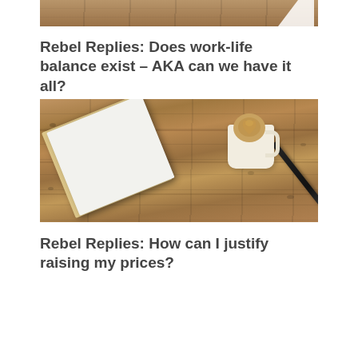[Figure (photo): Bottom portion of a wooden floor surface visible at top of page, with a white triangular shape (appears to be corner of a paper or envelope) peeking in from top]
Rebel Replies: Does work-life balance exist – AKA can we have it all?
[Figure (photo): Overhead shot of a wooden floor surface with a white notebook on top of a tan/kraft notebook, a black pen, and a white ceramic coffee cup with latte art, all arranged on rustic wood planks]
Rebel Replies: How can I justify raising my prices?